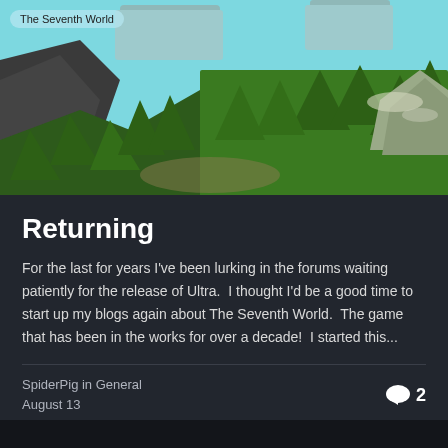[Figure (screenshot): 3D game landscape showing mountainous terrain with dense pine tree forests, rocky cliffs, and a cyan/light blue sky with floating rock formations. Label tag 'The Seventh World' in top-left corner.]
Returning
For the last for years I've been lurking in the forums waiting patiently for the release of Ultra.  I thought I'd be a good time to start up my blogs again about The Seventh World.  The game that has been in the works for over a decade!  I started this...
SpiderPig in General
August 13